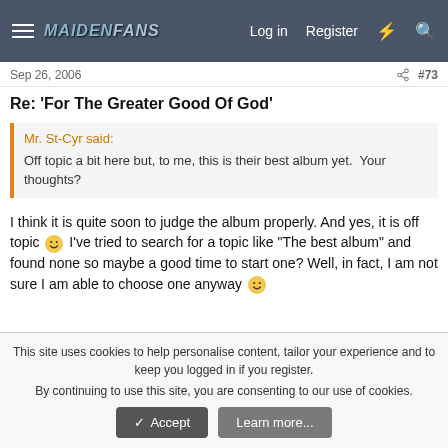MaidenFans — Log in  Register
Sep 26, 2006   #73
Re: 'For The Greater Good Of God'
Mr. St-Cyr said:
Off topic a bit here but, to me, this is their best album yet.  Your thoughts?
I think it is quite soon to judge the album properly. And yes, it is off topic 🙂 I've tried to search for a topic like "The best album" and found none so maybe a good time to start one? Well, in fact, I am not sure I am able to choose one anyway 🙂
This site uses cookies to help personalise content, tailor your experience and to keep you logged in if you register.
By continuing to use this site, you are consenting to our use of cookies.
✔ Accept   Learn more...